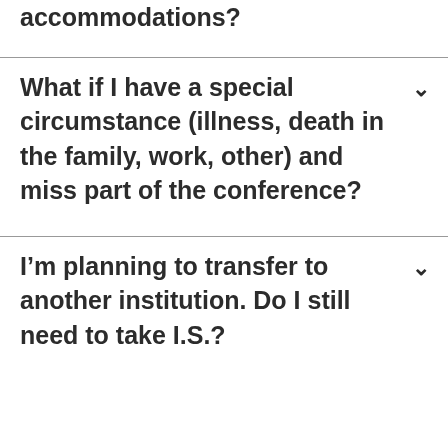accommodations?
What if I have a special circumstance (illness, death in the family, work, other) and miss part of the conference?
I'm planning to transfer to another institution. Do I still need to take I.S.?